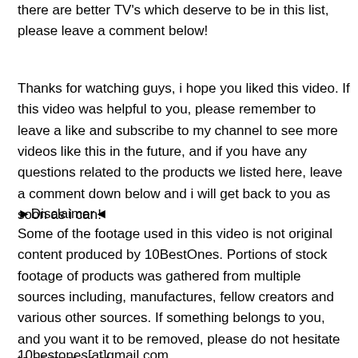there are better TV's which deserve to be in this list, please leave a comment below!
Thanks for watching guys, i hope you liked this video. If this video was helpful to you, please remember to leave a like and subscribe to my channel to see more videos like this in the future, and if you have any questions related to the products we listed here, leave a comment down below and i will get back to you as soon as i can!
►Disclaimer◄
Some of the footage used in this video is not original content produced by 10BestOnes. Portions of stock footage of products was gathered from multiple sources including, manufactures, fellow creators and various other sources. If something belongs to you, and you want it to be removed, please do not hesitate to contact us at
10bestones[at]gmail.com